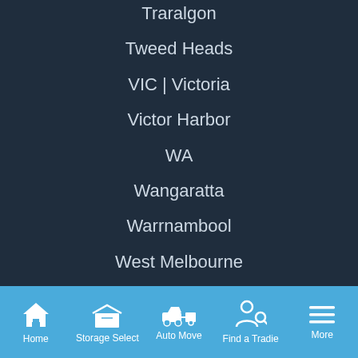Traralgon
Tweed Heads
VIC | Victoria
Victor Harbor
WA
Wangaratta
Warrnambool
West Melbourne
Western Australia
Wodonga
Wollongong
Home  Storage Select  Auto Move  Find a Tradie  More